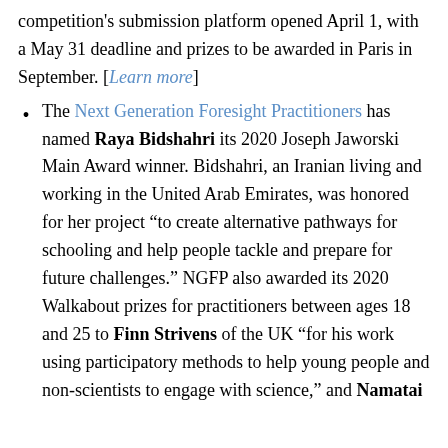competition's submission platform opened April 1, with a May 31 deadline and prizes to be awarded in Paris in September. [Learn more]
The Next Generation Foresight Practitioners has named Raya Bidshahri its 2020 Joseph Jaworski Main Award winner. Bidshahri, an Iranian living and working in the United Arab Emirates, was honored for her project “to create alternative pathways for schooling and help people tackle and prepare for future challenges.” NGFP also awarded its 2020 Walkabout prizes for practitioners between ages 18 and 25 to Finn Strivens of the UK “for his work using participatory methods to help young people and non-scientists to engage with science,” and Namatai